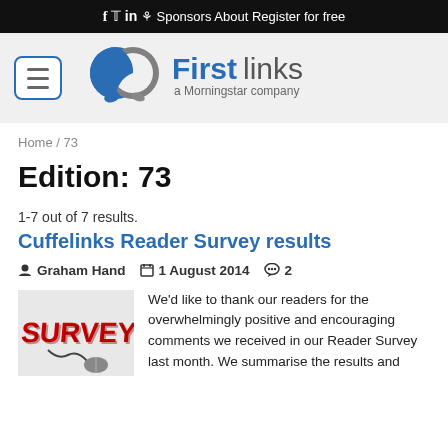f  Twitter  in  podcast  Sponsors  About  Register for free
[Figure (logo): Firstlinks - a Morningstar company logo with two interlocking speech bubble circles in blue and grey]
Home / 73
Edition: 73
1-7 out of 7 results.
Cuffelinks Reader Survey results
Graham Hand   1 August 2014   2
[Figure (photo): Red 3D text spelling SURVEY with a computer mouse]
We'd like to thank our readers for the overwhelmingly positive and encouraging comments we received in our Reader Survey last month. We summarise the results and